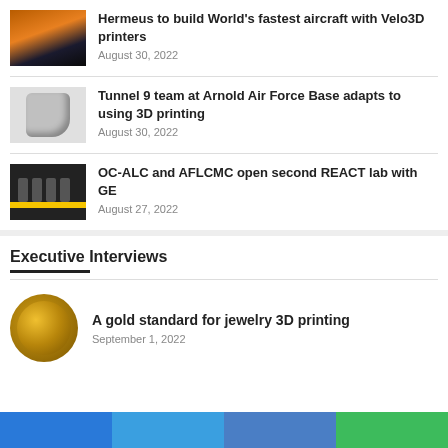[Figure (photo): Thumbnail of aircraft at sunset]
Hermeus to build World's fastest aircraft with Velo3D printers
August 30, 2022
[Figure (photo): Thumbnail of a 3D printed part]
Tunnel 9 team at Arnold Air Force Base adapts to using 3D printing
August 30, 2022
[Figure (photo): Thumbnail of people at a ribbon cutting]
OC-ALC and AFLCMC open second REACT lab with GE
August 27, 2022
Executive Interviews
[Figure (photo): Gold coin thumbnail for jewelry 3D printing article]
A gold standard for jewelry 3D printing
September 1, 2022